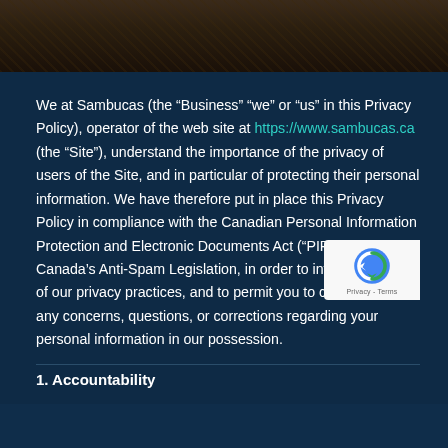[Figure (photo): Dark wooden surface/furniture photo at the top of the page]
We at Sambucas (the “Business” “we” or “us” in this Privacy Policy), operator of the web site at https://www.sambucas.ca (the “Site”), understand the importance of the privacy of users of the Site, and in particular of protecting their personal information. We have therefore put in place this Privacy Policy in compliance with the Canadian Personal Information Protection and Electronic Documents Act (“PIPEDA”) and Canada’s Anti-Spam Legislation, in order to inform you fully of our privacy practices, and to permit you to contact us with any concerns, questions, or corrections regarding your personal information in our possession.
1. Accountability